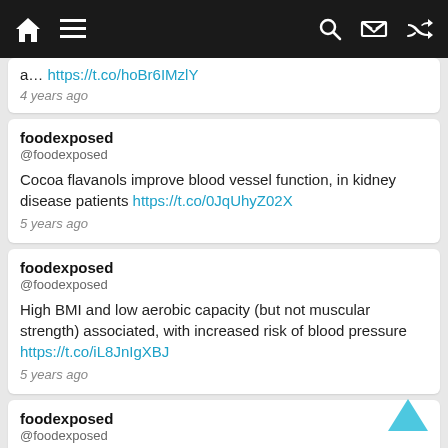Navigation bar with home, menu, search, shuffle icons
a… https://t.co/hoBr6IMzlY
4 years ago
foodexposed
@foodexposed
Cocoa flavanols improve blood vessel function, in kidney disease patients https://t.co/0JqUhyZ02X
5 years ago
foodexposed
@foodexposed
High BMI and low aerobic capacity (but not muscular strength) associated, with increased risk of blood pressure https://t.co/iL8JnIgXBJ
5 years ago
foodexposed
@foodexposed
MIND diet easiest to follow, second best diet in U.S. and